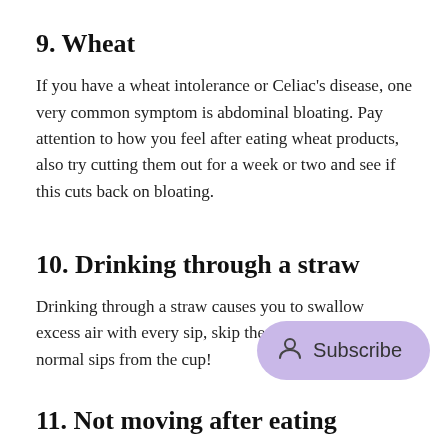9. Wheat
If you have a wheat intolerance or Celiac's disease, one very common symptom is abdominal bloating. Pay attention to how you feel after eating wheat products, also try cutting them out for a week or two and see if this cuts back on bloating.
10. Drinking through a straw
Drinking through a straw causes you to swallow excess air with every sip, skip the straw and take normal sips from the cup!
11. Not moving after eating